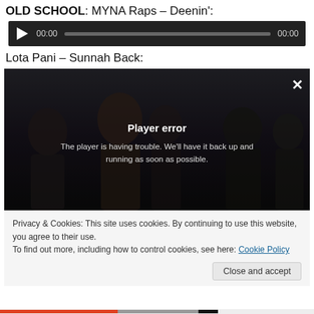OLD SCHOOL: MYNA Raps – Deenin':
[Figure (screenshot): Audio player widget with dark background, play button, time display 00:00 on both sides, and gray progress bar]
Lota Pani – Sunnah Back:
[Figure (screenshot): Video player showing group of people in a dark room with a player error overlay: 'Player error — The player is having trouble. We'll have it back up and running as soon as possible.' Close X button in top right.]
Privacy & Cookies: This site uses cookies. By continuing to use this website, you agree to their use.
To find out more, including how to control cookies, see here: Cookie Policy
Close and accept